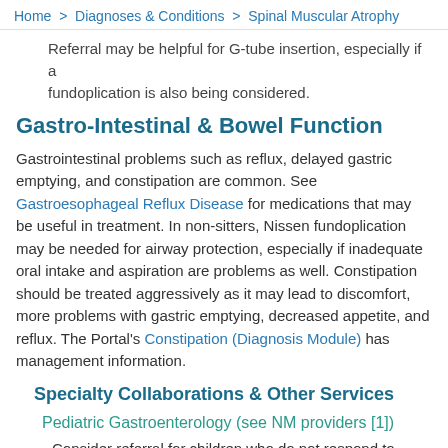Home > Diagnoses & Conditions > Spinal Muscular Atrophy
Referral may be helpful for G-tube insertion, especially if a fundoplication is also being considered.
Gastro-Intestinal & Bowel Function
Gastrointestinal problems such as reflux, delayed gastric emptying, and constipation are common. See Gastroesophageal Reflux Disease for medications that may be useful in treatment. In non-sitters, Nissen fundoplication may be needed for airway protection, especially if inadequate oral intake and aspiration are problems as well. Constipation should be treated aggressively as it may lead to discomfort, more problems with gastric emptying, decreased appetite, and reflux. The Portal's Constipation (Diagnosis Module) has management information.
Specialty Collaborations & Other Services
Pediatric Gastroenterology (see NM providers [1])
Consider referral for children who do not respond to typical management.